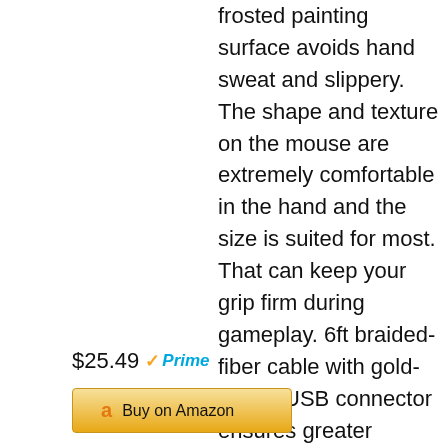frosted painting surface avoids hand sweat and slippery. The shape and texture on the mouse are extremely comfortable in the hand and the size is suited for most. That can keep your grip firm during gameplay. 6ft braided-fiber cable with gold-plated USB connector ensures greater durability. 18-Month Manufacturer's Promise.
$25.49 Prime
Buy on Amazon